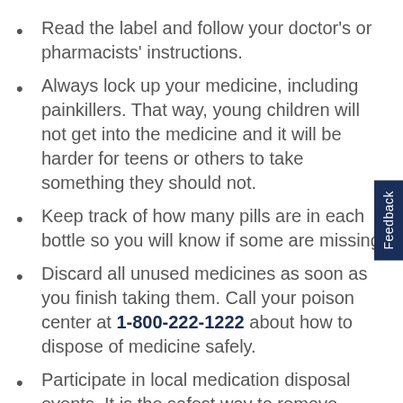Read the label and follow your doctor’s or pharmacists’ instructions.
Always lock up your medicine, including painkillers. That way, young children will not get into the medicine and it will be harder for teens or others to take something they should not.
Keep track of how many pills are in each bottle so you will know if some are missing.
Discard all unused medicines as soon as you finish taking them. Call your poison center at 1-800-222-1222 about how to dispose of medicine safely.
Participate in local medication disposal events. It is the safest way to remove prescription drugs from homes and protect the environment at the same time.